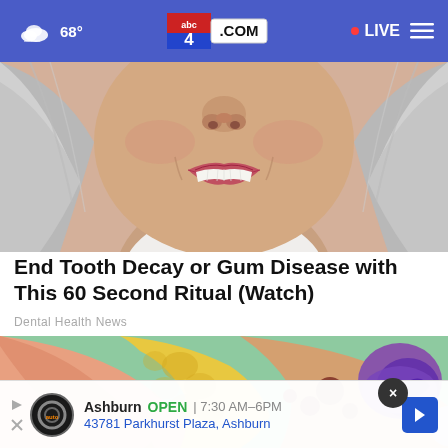68° | abc4.com | LIVE
[Figure (photo): Close-up photo of a smiling older woman with gray/white hair and white teeth, from nose to chin, wearing a white collar.]
End Tooth Decay or Gum Disease with This 60 Second Ritual (Watch)
Dental Health News
[Figure (illustration): Medical illustration showing a cross-section of a human ear, with pink outer ear canal, yellow cartilage structures, and purple inner ear anatomy against a green background.]
Ashburn OPEN | 7:30 AM–6PM 43781 Parkhurst Plaza, Ashburn